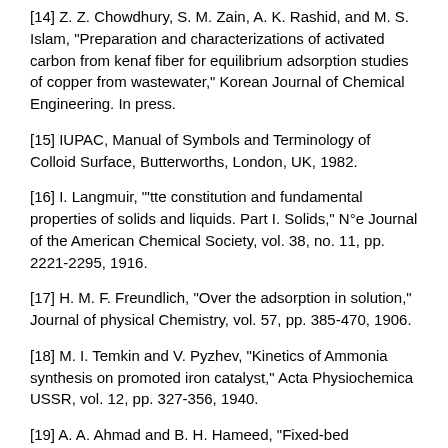[14] Z. Z. Chowdhury, S. M. Zain, A. K. Rashid, and M. S. Islam, "Preparation and characterizations of activated carbon from kenaf fiber for equilibrium adsorption studies of copper from wastewater," Korean Journal of Chemical Engineering. In press.
[15] IUPAC, Manual of Symbols and Terminology of Colloid Surface, Butterworths, London, UK, 1982.
[16] I. Langmuir, "'tte constitution and fundamental properties of solids and liquids. Part I. Solids," N°e Journal of the American Chemical Society, vol. 38, no. 11, pp. 2221-2295, 1916.
[17] H. M. F. Freundlich, "Over the adsorption in solution," Journal of physical Chemistry, vol. 57, pp. 385-470, 1906.
[18] M. I. Temkin and V. Pyzhev, "Kinetics of Ammonia synthesis on promoted iron catalyst," Acta Physiochemica USSR, vol. 12, pp. 327-356, 1940.
[19] A. A. Ahmad and B. H. Hameed, "Fixed-bed adsorption of reactive azo dye onto granular activated carbon prepared from waste," Journal of Hazardous Materials, vol. 175, no. 1-3, pp. 298-